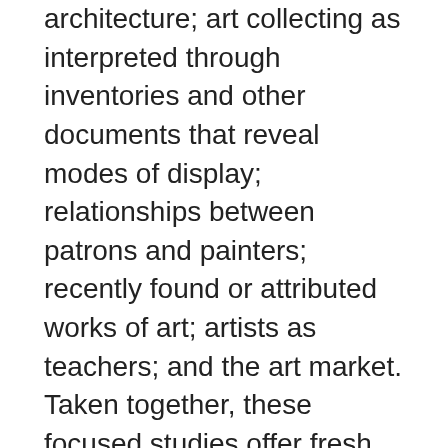architecture; art collecting as interpreted through inventories and other documents that reveal modes of display; relationships between patrons and painters; recently found or attributed works of art; artists as teachers; and the art market. Taken together, these focused studies offer fresh perspectives on the historical appreciation and evaluation of art.
Drawing upon J.M. Montias' contribution to art history, these 32 essays present new analyses, attributions, and documents on Netherlandish art and material culture – including the work of Vermeer, Rubens, Rembrandt, van Eyck and others – by internationally known